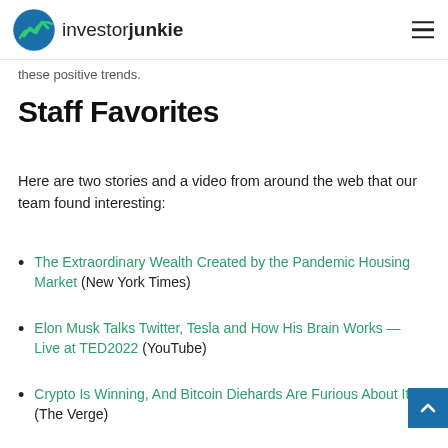investorjunkie
pandemic. Average hourly earnings also rose as ... hope to see a continuation of these positive trends.
Staff Favorites
Here are two stories and a video from around the web that our team found interesting:
The Extraordinary Wealth Created by the Pandemic Housing Market (New York Times)
Elon Musk Talks Twitter, Tesla and How His Brain Works — Live at TED2022 (YouTube)
Crypto Is Winning, And Bitcoin Diehards Are Furious About It (The Verge)